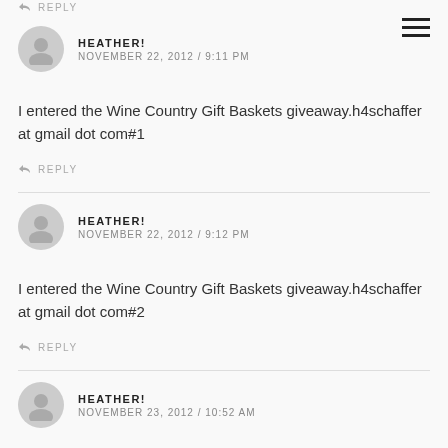↩ REPLY
HEATHER! NOVEMBER 22, 2012 / 9:11 PM
I entered the Wine Country Gift Baskets giveaway.h4schaffer at gmail dot com#1
↩ REPLY
HEATHER! NOVEMBER 22, 2012 / 9:12 PM
I entered the Wine Country Gift Baskets giveaway.h4schaffer at gmail dot com#2
↩ REPLY
HEATHER! NOVEMBER 23, 2012 / 10:52 AM